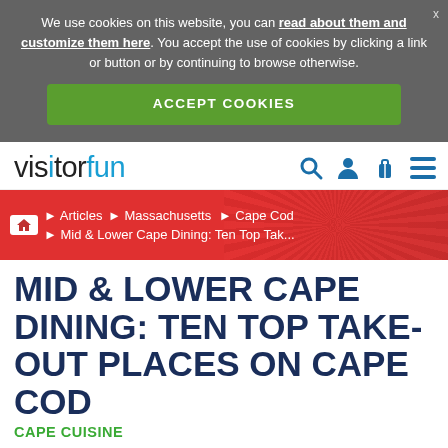We use cookies on this website, you can read about them and customize them here. You accept the use of cookies by clicking a link or button or by continuing to browse otherwise.
ACCEPT COOKIES
[Figure (logo): visitorfun logo with search, user, luggage, and menu icons]
Articles · Massachusetts · Cape Cod · Mid & Lower Cape Dining: Ten Top Tak...
MID & LOWER CAPE DINING: TEN TOP TAKE-OUT PLACES ON CAPE COD
CAPE CUISINE